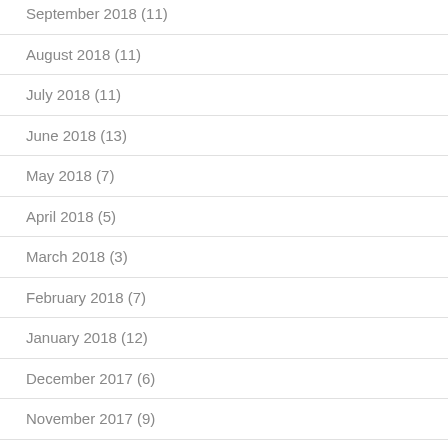September 2018 (11)
August 2018 (11)
July 2018 (11)
June 2018 (13)
May 2018 (7)
April 2018 (5)
March 2018 (3)
February 2018 (7)
January 2018 (12)
December 2017 (6)
November 2017 (9)
October 2017 (28)
September 2017 (15)
August 2017 (18)